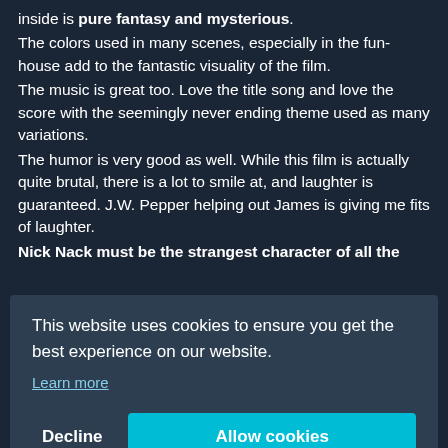inside is pure fantasy and mysterious.
The colors used in many scenes, especially in the fun-house add to the fantastic visuality of the film.
The music is great too. Love the title song and love the score with the seemingly never ending theme used as many variations.
The humor is very good as well. While this film is actually quite brutal, there is a lot to smile at, and laughter is guaranteed. J.W. Pepper helping out James is giving me fits of laughter.
Nick Nack must be the strangest character of all the
This website uses cookies to ensure you get the best experience on our website.
Learn more
Decline   Allow cookies
5. TMWTGG